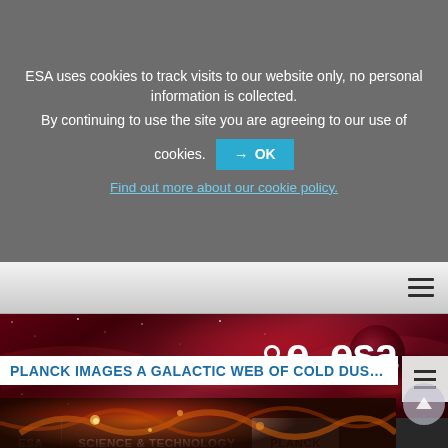ESA uses cookies to track visits to our website only, no personal information is collected.
By continuing to use the site you are agreeing to our use of cookies.
→ OK
Find out more about our cookie policy.
[Figure (screenshot): ESA website navigation bar with hamburger menu icon]
[Figure (photo): Red/purple nebula space background with ESA logo in upper right]
ESA | SCIENCE & TECHNOLOGY | PLANCK
PLANCK IMAGES A GALACTIC WEB OF COLD DUST
[Figure (photo): Galactic web of cold dust — infrared/microwave image showing warm orange-brown filaments and structures]